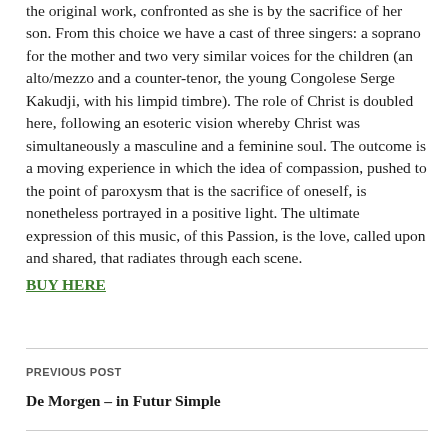the original work, confronted as she is by the sacrifice of her son. From this choice we have a cast of three singers: a soprano for the mother and two very similar voices for the children (an alto/mezzo and a counter-tenor, the young Congolese Serge Kakudji, with his limpid timbre). The role of Christ is doubled here, following an esoteric vision whereby Christ was simultaneously a masculine and a feminine soul. The outcome is a moving experience in which the idea of compassion, pushed to the point of paroxysm that is the sacrifice of oneself, is nonetheless portrayed in a positive light. The ultimate expression of this music, of this Passion, is the love, called upon and shared, that radiates through each scene. BUY HERE
PREVIOUS POST
De Morgen – in Futur Simple